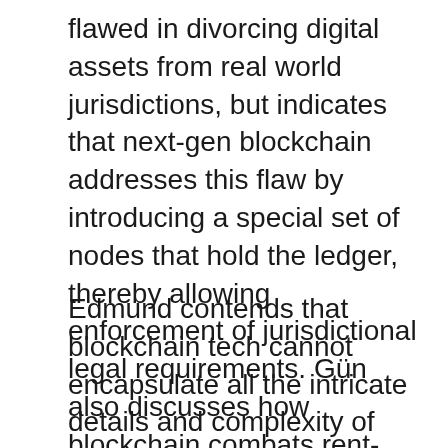flawed in divorcing digital assets from real world jurisdictions, but indicates that next-gen blockchain addresses this flaw by introducing a special set of nodes that hold the ledger, thereby allowing enforcement of jurisdictional legal requirements. Gün also discusses how blockchain combats rent-seeking, fosters automation and creates a trustless system unlike traditional client-server paradigms.
Edmund contends that blockchain tech cannot encapsulate all the intricate details and complexity of real world, thereby necessitating some backdoor to address edge cases. Without it, a synchronization conflict arises between the state